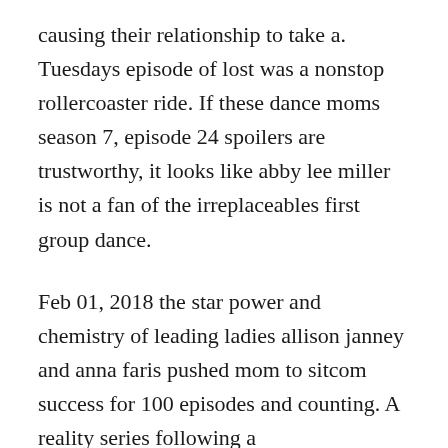causing their relationship to take a. Tuesdays episode of lost was a nonstop rollercoaster ride. If these dance moms season 7, episode 24 spoilers are trustworthy, it looks like abby lee miller is not a fan of the irreplaceables first group dance.
Feb 01, 2018 the star power and chemistry of leading ladies allison janney and anna faris pushed mom to sitcom success for 100 episodes and counting. A reality series following a competitivedance instructor, her young students and their pushy moms. Live